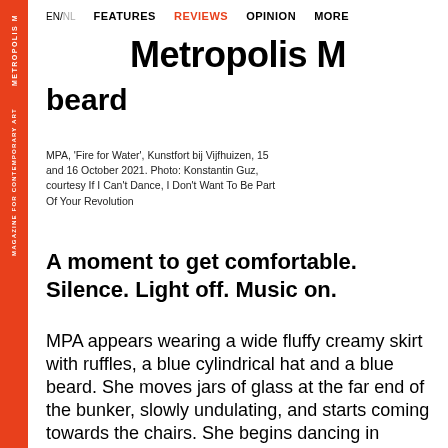EN/NL   FEATURES   REVIEWS   OPINION   MORE
Metropolis M
beard
MPA, 'Fire for Water', Kunstfort bij Vijfhuizen, 15 and 16 October 2021. Photo: Konstantin Guz, courtesy If I Can't Dance, I Don't Want To Be Part Of Your Revolution
A moment to get comfortable. Silence. Light off. Music on.
MPA appears wearing a wide fluffy creamy skirt with ruffles, a blue cylindrical hat and a blue beard. She moves jars of glass at the far end of the bunker, slowly undulating, and starts coming towards the chairs. She begins dancing in concentric movements, coming